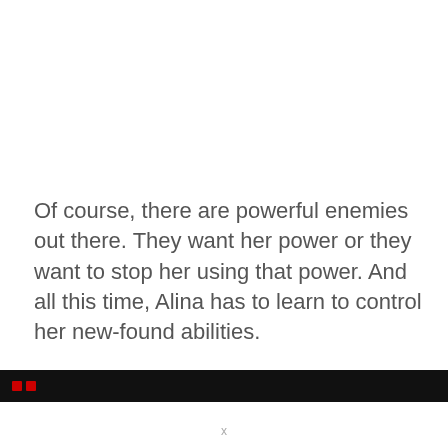Of course, there are powerful enemies out there. They want her power or they want to stop her using that power. And all this time, Alina has to learn to control her new-found abilities.
[Figure (other): Black navigation/player bar with two small red indicator squares on the left side]